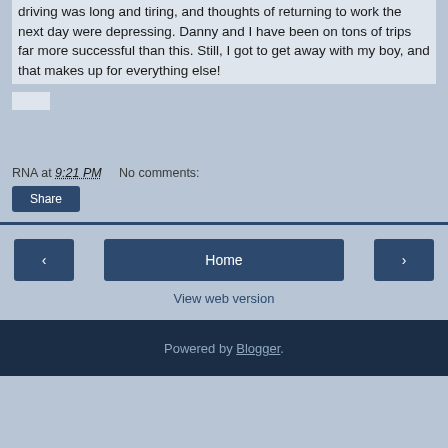driving was long and tiring, and thoughts of returning to work the next day were depressing. Danny and I have been on tons of trips far more successful than this. Still, I got to get away with my boy, and that makes up for everything else!
RNA at 9:21 PM   No comments:
Share
Home | < | > | View web version
Powered by Blogger.